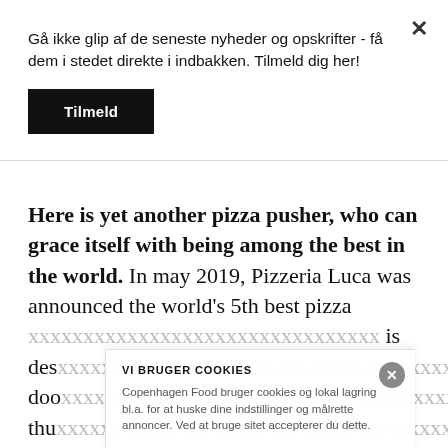Gå ikke glip af de seneste nyheder og opskrifter - få dem i stedet direkte i indbakken. Tilmeld dig her!
Tilmeld
Here is yet another pizza pusher, who can grace itself with being among the best in the world. In may 2019, Pizzeria Luca was announced the world's 5th best pizza
VI BRUGER COOKIES
Copenhagen Food bruger cookies og lokal lagring bl.a. for at huske dine indstillinger og målrette annoncer. Ved at bruge sitet accepterer du dette.